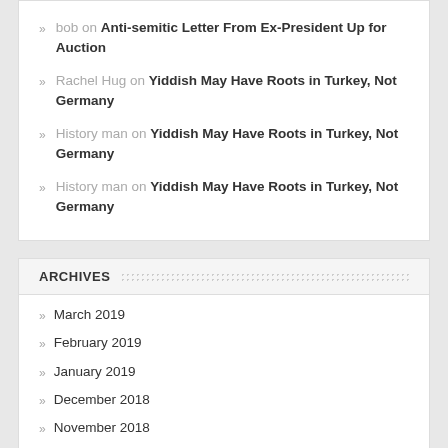bob on Anti-semitic Letter From Ex-President Up for Auction
Rachel Hug on Yiddish May Have Roots in Turkey, Not Germany
History man on Yiddish May Have Roots in Turkey, Not Germany
History man on Yiddish May Have Roots in Turkey, Not Germany
ARCHIVES
March 2019
February 2019
January 2019
December 2018
November 2018
September 2018